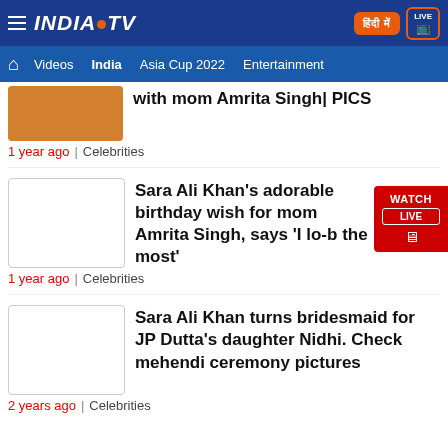INDIA TV
Home | Videos | India | Asia Cup 2022 | Entertainment
with mom Amrita Singh| PICS
1 year ago | Celebrities
Sara Ali Khan's adorable birthday wish for mom Amrita Singh, says 'I lo-b the most'
1 year ago | Celebrities
Sara Ali Khan turns bridesmaid for JP Dutta's daughter Nidhi. Check mehendi ceremony pictures
2 years ago | Celebrities